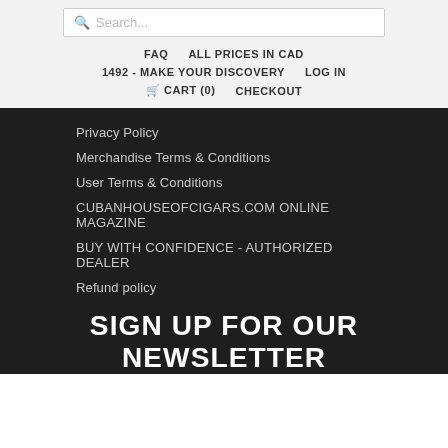Search...
FAQ
ALL PRICES IN CAD
1492 - MAKE YOUR DISCOVERY
LOG IN
CART (0)
CHECKOUT
Privacy Policy
Merchandise Terms & Conditions
User Terms & Conditions
CUBANHOUSEOFCIGARS.COM ONLINE MAGAZINE
BUY WITH CONFIDENCE - AUTHORIZED DEALER
Refund policy
SIGN UP FOR OUR NEWSLETTER